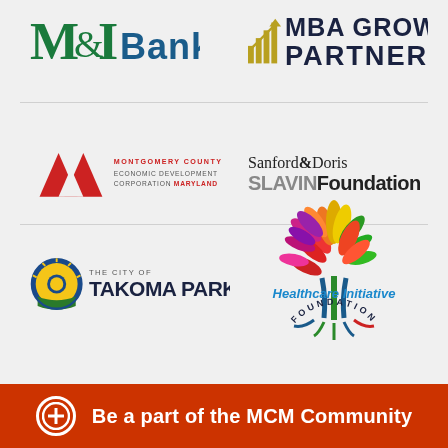[Figure (logo): M&I Bank logo - green M&I with blue Bank text]
[Figure (logo): MBA Growth Partners logo with chart icon, dark navy and gold text]
[Figure (logo): Montgomery County Economic Development Corporation Maryland logo with red geometric shape]
[Figure (logo): Sanford & Doris Slavin Foundation logo, black serif text]
[Figure (logo): The City of Takoma Park logo with circular emblem]
[Figure (logo): Healthcare Initiative Foundation logo with colorful tree made of leaves]
Be a part of the MCM Community